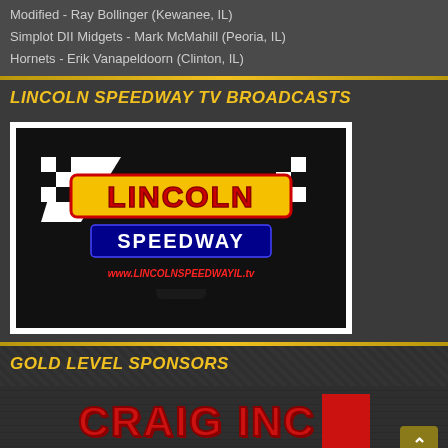Modified - Ray Bollinger (Kewanee, IL)
Simplot DII Midgets - Mark McMahill (Peoria, IL)
Hornets - Erik Vanapeldoorn (Clinton, IL)
LINCOLN SPEEDWAY TV BROADCASTS
[Figure (logo): Lincoln Speedway TV broadcast logo showing a television screen with Lincoln Speedway logo and URL www.LINCOLNSPEEDWAYIL.tv]
GOLD LEVEL SPONSORS
[Figure (logo): Craig Inc logo in red letters with a red block, partially visible at bottom of page]